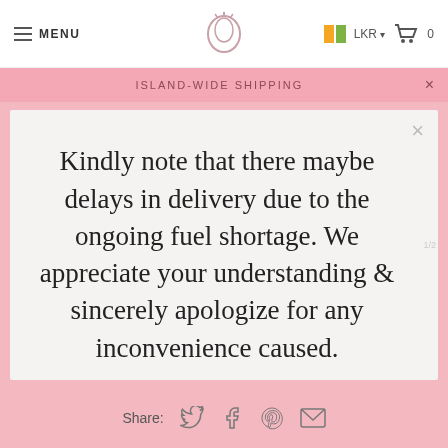MENU | [logo] | LKR | 0
ISLAND-WIDE SHIPPING
Kindly note that there maybe delays in delivery due to the ongoing fuel shortage. We appreciate your understanding & sincerely apologize for any inconvenience caused.
Share: